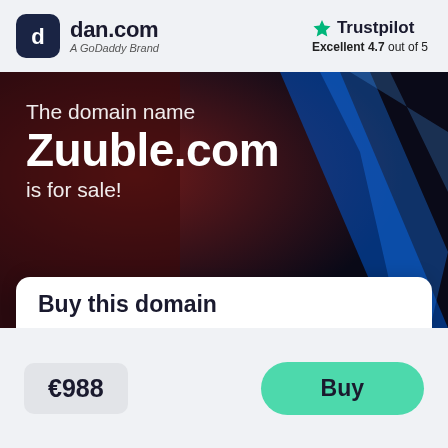[Figure (logo): dan.com logo — dark rounded square icon with 'd' letter, followed by 'dan.com' wordmark and 'A GoDaddy Brand' tagline]
[Figure (logo): Trustpilot logo — green star icon and 'Trustpilot' text with rating 'Excellent 4.7 out of 5']
[Figure (photo): Dark dramatic background with blue and red light streaks, used as hero section background]
The domain name
Zuuble.com
is for sale!
Buy this domain
€988
Buy